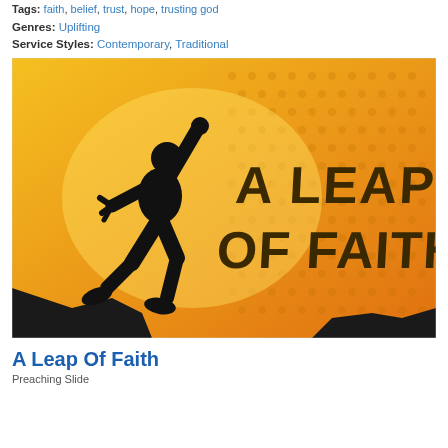Tags: faith, belief, trust, hope, trusting god
Genres: Uplifting
Service Styles: Contemporary, Traditional
[Figure (illustration): Illustration of a person silhouette leaping between two rocky outcrops against an orange/yellow halftone dotted background, with bold text reading 'A LEAP OF FAITH?']
A Leap Of Faith
Preaching Slide